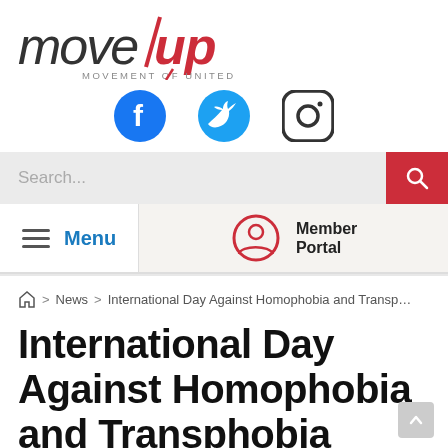[Figure (logo): MoveUP - Movement of United Professionals logo with blue 'move' text and red 'up' text]
[Figure (infographic): Social media icons: Facebook (blue circle with f), Twitter (blue bird), Instagram (rounded square camera icon)]
[Figure (screenshot): Search bar with 'Search...' placeholder text and red search button with magnifying glass icon]
[Figure (screenshot): Navigation bar with hamburger menu icon and blue 'Menu' text on left, Member Portal with person icon on right]
Home > News > International Day Against Homophobia and Transp…
International Day Against Homophobia and Transphobia